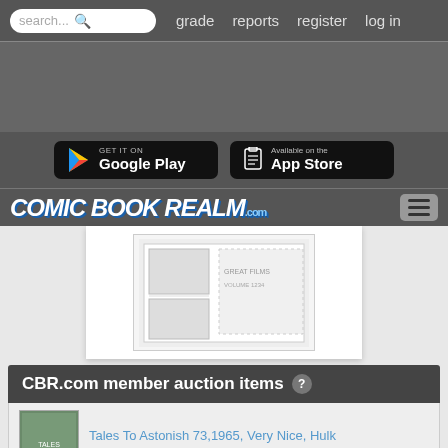search... grade reports register log in
[Figure (screenshot): Google Play and App Store download buttons on dark background]
[Figure (logo): Comic Book Realm .com logo with hamburger menu]
[Figure (photo): Comic book interior page thumbnail]
CBR.com member auction items ?
Tales To Astonish 73,1965, Very Nice, Hulk
$39.99 | Ends:
X-factor Lot (marvel, 1986) Lot Of 11 Comics
$28.49 | Ends: